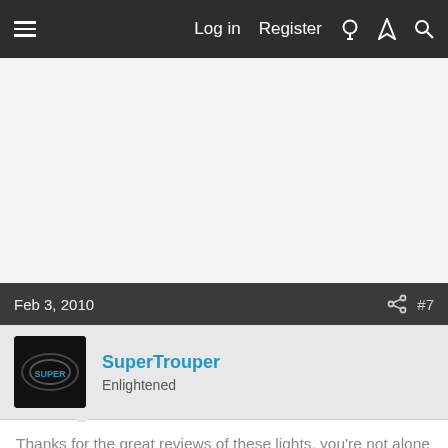≡  Log in  Register
[Figure (screenshot): Empty white/light gray content area (advertisement placeholder)]
Feb 3, 2010  #7
SuperTrouper
Enlightened
Thanks for the great reviews of these lights, you're not alone in having trouble getting the split ring onto the mini.... I was